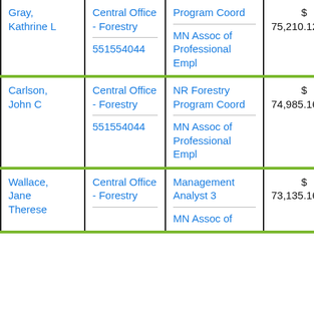| Name | Department | Job Title / Union | Salary |
| --- | --- | --- | --- |
| Gray, Kathrine L | Central Office - Forestry
551554044 | Program Coord
MN Assoc of Professional Empl | $ 75,210.12 |
| Carlson, John C | Central Office - Forestry
551554044 | NR Forestry Program Coord
MN Assoc of Professional Empl | $ 74,985.16 |
| Wallace, Jane Therese | Central Office - Forestry | Management Analyst 3
MN Assoc of | $ 73,135.16 |